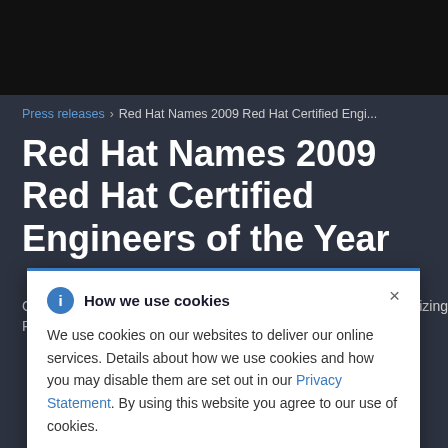Press releases > Red Hat Names 2009 Red Hat Certified Engi...
Red Hat Names 2009 Red Hat Certified Engineers of the Year
ents utilizing R
How we use cookies

We use cookies on our websites to deliver our online services. Details about how we use cookies and how you may disable them are set out in our Privacy Statement. By using this website you agree to our use of cookies.